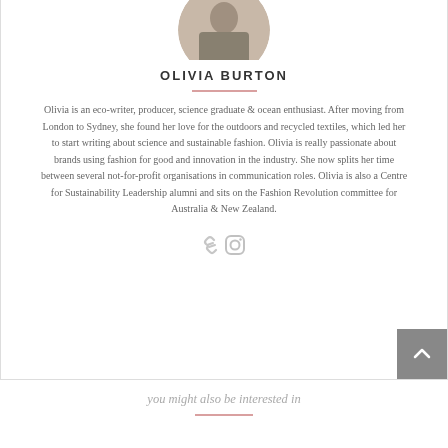[Figure (photo): Circular cropped profile photo of Olivia Burton, partially visible at top of card]
OLIVIA BURTON
Olivia is an eco-writer, producer, science graduate & ocean enthusiast. After moving from London to Sydney, she found her love for the outdoors and recycled textiles, which led her to start writing about science and sustainable fashion. Olivia is really passionate about brands using fashion for good and innovation in the industry. She now splits her time between several not-for-profit organisations in communication roles. Olivia is also a Centre for Sustainability Leadership alumni and sits on the Fashion Revolution committee for Australia & New Zealand.
[Figure (illustration): Two social media icons: a hyperlink/chain icon and an Instagram icon]
you might also be interested in